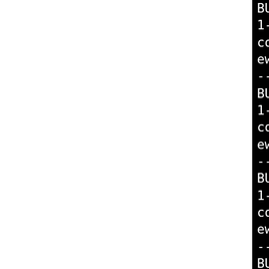[Figure (screenshot): Terminal/console output showing CMake install steps for ka5-korganizer package, including installing PNG icons at various sizes (64x64, 32x32, 16x16) and setting runtime path for korganizer binary.]